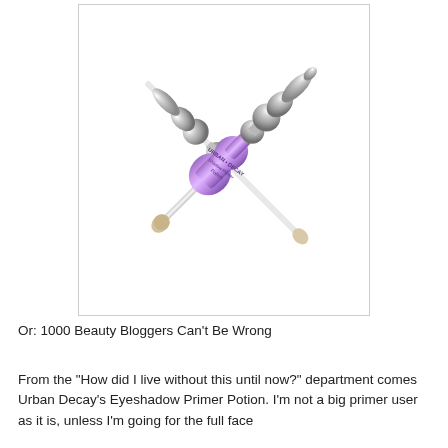[Figure (photo): Two Urban Decay Eyeshadow Primer Potion applicators crossed in an X shape. Each has a silver bullet-shaped cap and chrome accents. The one in front has a shiny purple/lavender metallic body with 'URBAN DECAY Shadow Primer Potion' text on it, with a white wand applicator and beige/nude sponge tip. The background is white with a light gray border around the image.]
Or: 1000 Beauty Bloggers Can't Be Wrong
From the "How did I live without this until now?" department comes Urban Decay's Eyeshadow Primer Potion. I'm not a big primer user as it is, unless I'm going for the full face